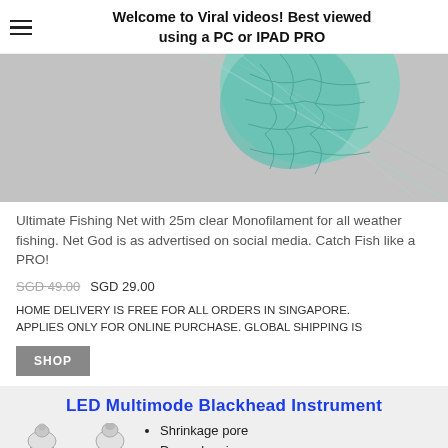Welcome to Viral videos! Best viewed using a PC or IPAD PRO
[Figure (photo): Close-up photo of a green fishing net with monofilament line on a gray background]
Ultimate Fishing Net with 25m clear Monofilament for all weather fishing. Net God is as advertised on social media. Catch Fish like a PRO!
SGD 49.00  SGD 29.00
HOME DELIVERY IS FREE FOR ALL ORDERS IN SINGAPORE. APPLIES ONLY FOR ONLINE PURCHASE. GLOBAL SHIPPING IS
SHOP
[Figure (infographic): LED Multimode Blackhead Instrument product image with two silver devices and bullet points: Shrinkage pore, Deep cleaning]